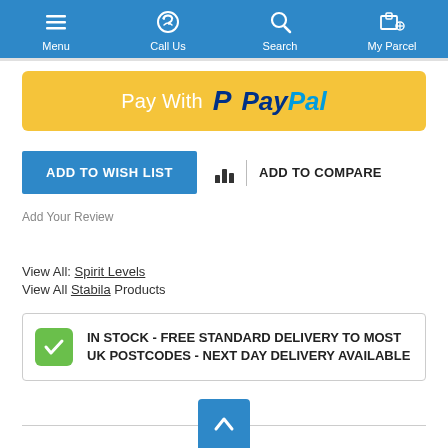[Figure (screenshot): Mobile e-commerce navigation bar with Menu, Call Us, Search, and My Parcel icons on blue background]
[Figure (logo): Pay With PayPal button banner with yellow background and PayPal logo]
ADD TO WISH LIST
ADD TO COMPARE
Add Your Review
View All: Spirit Levels
View All Stabila Products
IN STOCK - FREE STANDARD DELIVERY TO MOST UK POSTCODES - NEXT DAY DELIVERY AVAILABLE
Description